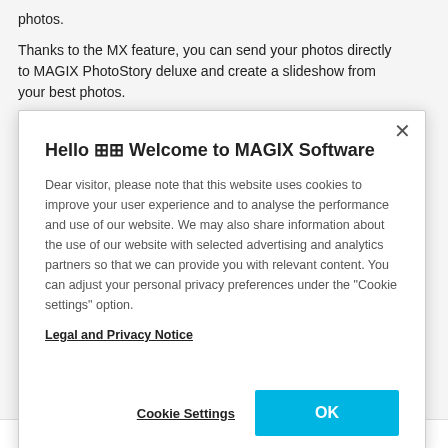photos.
Thanks to the MX feature, you can send your photos directly to MAGIX PhotoStory deluxe and create a slideshow from your best photos.
[Figure (screenshot): Modal dialog: 'Hello Welcome to MAGIX Software' with cookie consent text, Legal and Privacy Notice link, Cookie Settings button, and OK button. Close (×) button in top right.]
Download (shipping free)